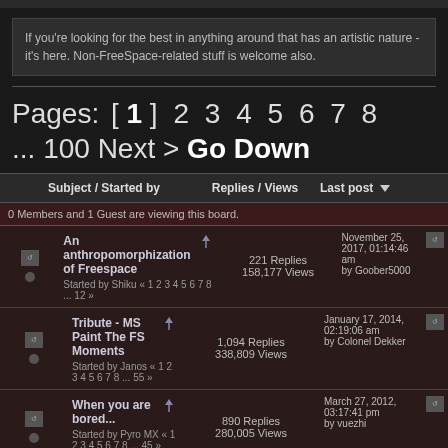If you're looking for the best in anything around that has an artistic nature - it's here. Non-FreeSpace-related stuff is welcome also.
Pages: [ 1 ] 2 3 4 5 6 7 8 ... 100 Next > Go Down
| Subject / Started by | Replies / Views | Last post |
| --- | --- | --- |
| 0 Members and 1 Guest are viewing this board. |  |  |
| An anthropomorphization of Freespace
Started by Shiku « 1 2 3 4 5 6 7 8 ... 12 » | 221 Replies
158,177 Views | November 25, 2017, 01:14:46 am
by Goober5000 |
| Tribute - MS Paint The FS Moments
Started by Janos « 1 2 3 4 5 6 7 8 ... 55 » | 1,094 Replies
338,809 Views | January 17, 2014, 02:19:06 am
by Colonel Dekker |
| When you are bored...
Started by Pyro MX « 1 2 3 4 5 6 7 8 ... 45 » | 890 Replies
280,005 Views | March 27, 2012, 03:17:41 pm
by vuezhi |